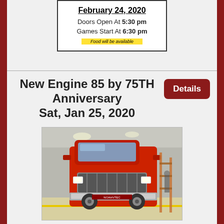February 24, 2020
Doors Open At 5:30 pm
Games Start At 6:30 pm
Food will be available
New Engine 85 by 75TH Anniversary Sat, Jan 25, 2020
Details
[Figure (photo): Red fire truck (Engine 85) shown from the front inside an industrial building/warehouse. Red fire engine with chrome grille and bumper. Scaffolding visible in the background on the right.]